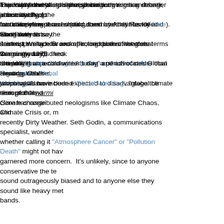The Yale survey is fascinating (particularly for those of us who fixate on such things anyway), showing that people regard global warming as more serious than climate change and more confident that it is happening.
Especially revealing is that global warming has stronger proximity: People more likely see it as harming them and their family and more likely to say it is happening now and affecting current weather. Curiously- and I checked- the polling was conducted during a period of colder than average weather, which could have been expected to disadvantage the term global warming.
This is just the latest skirmish in a long running debate about which of the two competing terms should dominate that has rolled along ever since the scientist Wallace Broecker coined both of the core terms in a single 1975 article "Climatic Change: Are We on the Brink of a Pronounced Global Warming?"
Environmental campaigners hate both terms and seek, intermittently, to introduce new phrases (discussed by Andy Revkin here). Earth scientist James Lovelock for example, complains that global warming sounds like a nice duvet on a cold winter's day" and advocates Global Heating. Other proposals have included 'Global Weirding', "global climate disruption"and Gore has contributed neologisms like Climate Chaos, Climate Crisis or, more recently Dirty Weather. Seth Godin, a communications specialist, wondered whether calling it "Atmosphere Cancer" or "Pollution Death" might not have garnered more concern.  It's unlikely, since to anyone conservative the terms sound outrageously biased and to anyone else they sound like heavy metal bands.